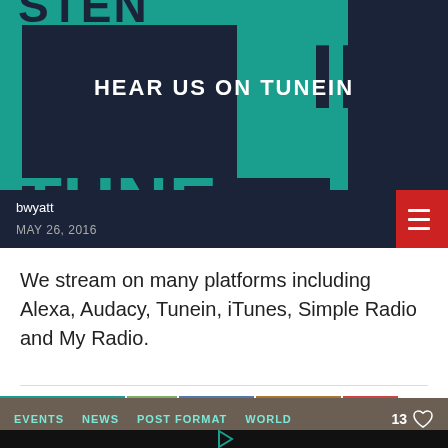[Figure (illustration): Hero banner with dark navy and teal background showing 'HEAR US ON TUNEIN' text overlaid on a stylized TuneIn logo graphic with large letters LISTEN/TUNE/IN in navy and teal blocks]
bwyatt
MAY 26, 2016
We stream on many platforms including Alexa, Audacy, Tunein, iTunes, Simple Radio and My Radio.
EVENTS NEWS POST FORMAT WORLD 13